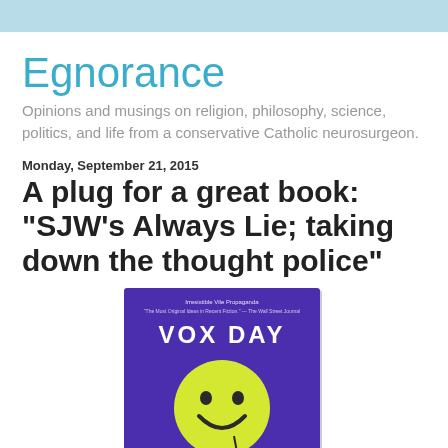Egnorance
Opinions and musings on religion, philosophy, science, politics, and life from a conservative Catholic neurosurgeon.
Monday, September 21, 2015
A plug for a great book: "SJW's Always Lie; taking down the thought police"
[Figure (illustration): Book cover of 'SJWs Always Lie: Taking Down the Thought Police' by Vox Day. Purple background with a yellow smiley face and bold white text.]